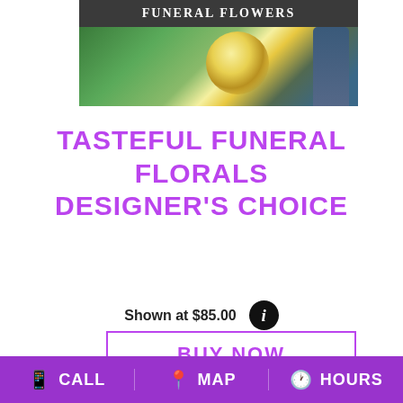[Figure (photo): Funeral flowers banner with text 'FUNERAL FLOWERS' on dark background, showing yellow lily and green foliage]
TASTEFUL FUNERAL FLORALS DESIGNER'S CHOICE
Shown at $85.00
BUY NOW
[Figure (photo): Floral arrangement with pink alstroemeria and green foliage against gray background]
CALL   MAP   HOURS